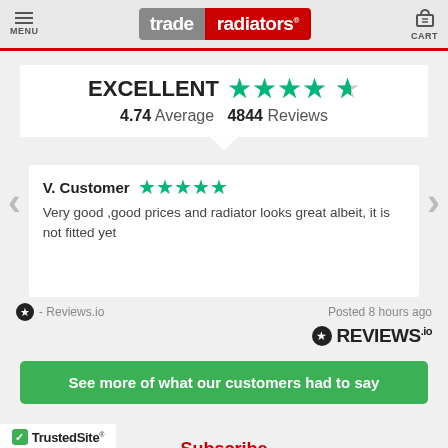[Figure (logo): Trade Radiators logo with hamburger menu and cart icons in header]
EXCELLENT  4.74 Average  4844 Reviews
V. Customer  ★★★★★
Very good ,good prices and radiator looks great albeit, it is not fitted yet
- Reviews.io  Posted 8 hours ago
[Figure (logo): REVIEWS.io logo]
See more of what our customers had to say
[Figure (logo): TrustedSite Certified Secure badge]
Subscribe